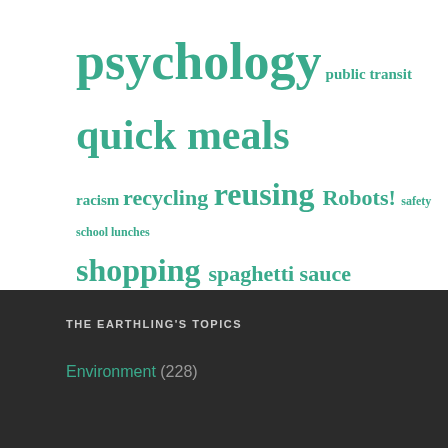[Figure (infographic): Tag cloud with topics in teal/green color at varying font sizes on white background: psychology, public transit, quick meals, racism, recycling, reusing, Robots!, safety, school lunches, shopping, spaghetti sauce, technology, teenager, Things Not To Do, thriftiness, time-savers, toddler, tofu, travel, vegetarianism, work, zucchini]
THE EARTHLING'S TOPICS
Environment (228)